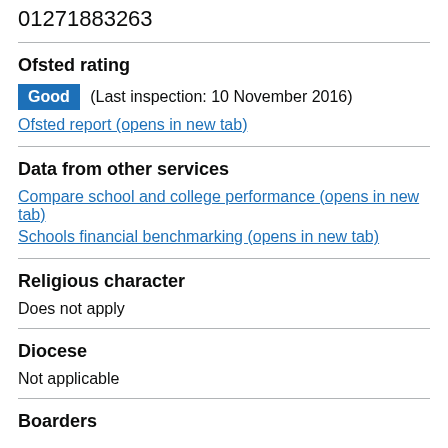01271883263
Ofsted rating
Good (Last inspection: 10 November 2016)
Ofsted report (opens in new tab)
Data from other services
Compare school and college performance (opens in new tab)
Schools financial benchmarking (opens in new tab)
Religious character
Does not apply
Diocese
Not applicable
Boarders